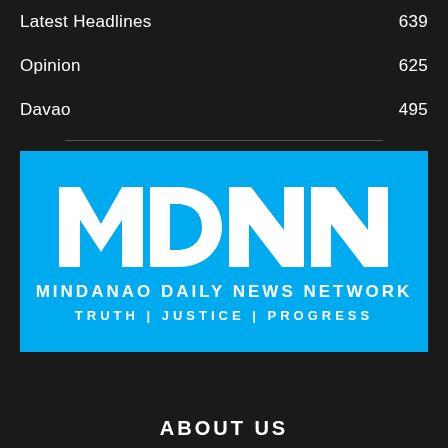Latest Headlines 639
Opinion 625
Davao 495
[Figure (logo): MDNN - Mindanao Daily News Network logo on blue background with tagline TRUTH | JUSTICE | PROGRESS]
ABOUT US